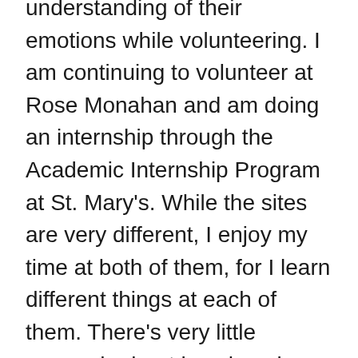understanding of their emotions while volunteering. I am continuing to volunteer at Rose Monahan and am doing an internship through the Academic Internship Program at St. Mary's. While the sites are very different, I enjoy my time at both of them, for I learn different things at each of them. There's very little research about how hospice care differs across these different types of settings, so I am hoping to help fill a research gap. I think one of the best things about CBL is the ability to connect what you are learning inside of the classroom with the world outside of the classroom. For example, it is one thing for me to read scholarly articles on volunteering, but it adds a whole new dimension to actually be at the sites volunteering. I am grateful for CBL for introducing me to a field I feel passionate about, and I am very excited to continue to work on my thesis and learn more about volunteering from past and current volunteers.